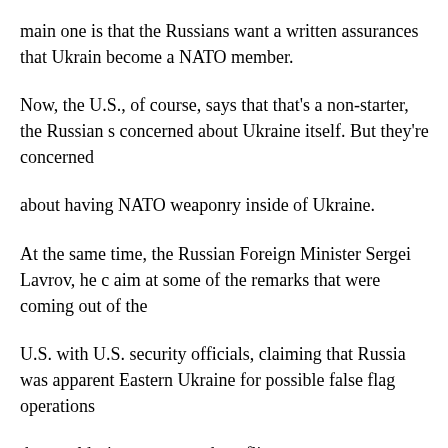main one is that the Russians want a written assurances that Ukraine become a NATO member.
Now, the U.S., of course, says that that's a non-starter, the Russian s concerned about Ukraine itself. But they're concerned
about having NATO weaponry inside of Ukraine.
At the same time, the Russian Foreign Minister Sergei Lavrov, he c aim at some of the remarks that were coming out of the
U.S. with U.S. security officials, claiming that Russia was apparent Eastern Ukraine for possible false flag operations
that could trigger an armed conflict.